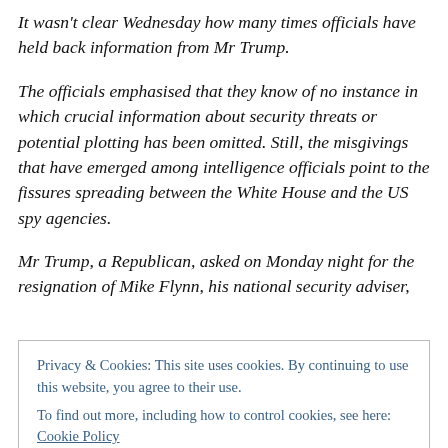It wasn't clear Wednesday how many times officials have held back information from Mr Trump.
The officials emphasised that they know of no instance in which crucial information about security threats or potential plotting has been omitted. Still, the misgivings that have emerged among intelligence officials point to the fissures spreading between the White House and the US spy agencies.
Mr Trump, a Republican, asked on Monday night for the resignation of Mike Flynn, his national security adviser,
Privacy & Cookies: This site uses cookies. By continuing to use this website, you agree to their use.
To find out more, including how to control cookies, see here: Cookie Policy
Close and accept
and the news media, blaming them for Mr Flynn's